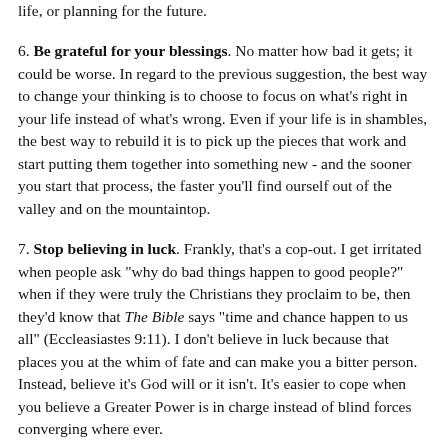life, or planning for the future.
6. Be grateful for your blessings. No matter how bad it gets; it could be worse. In regard to the previous suggestion, the best way to change your thinking is to choose to focus on what's right in your life instead of what's wrong. Even if your life is in shambles, the best way to rebuild it is to pick up the pieces that work and start putting them together into something new - and the sooner you start that process, the faster you'll find ourself out of the valley and on the mountaintop.
7. Stop believing in luck. Frankly, that's a cop-out. I get irritated when people ask "why do bad things happen to good people?" when if they were truly the Christians they proclaim to be, then they'd know that The Bible says "time and chance happen to us all" (Eccleasiastes 9:11). I don't believe in luck because that places you at the whim of fate and can make you a bitter person. Instead, believe it's God will or it isn't. It's easier to cope when you believe a Greater Power is in charge instead of blind forces converging where ever.
8. Mind your own business. Nobody's going to take your advice on how to fix their life if yours is a hot mess, so don't bother. Tend to your